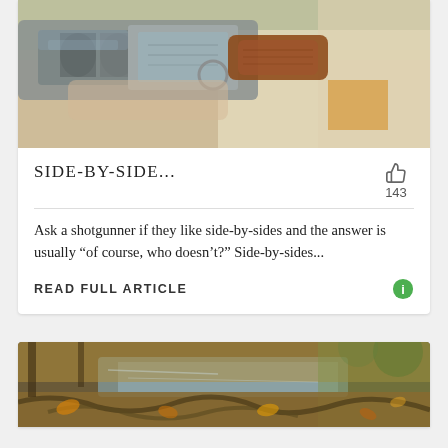[Figure (photo): Close-up photo of a side-by-side shotgun being held, showing the break-action receiver, barrels, wooden stock, and a person's hand and clothing in the background with blurred green/brown outdoor scenery.]
SIDE-BY-SIDE...
Ask a shotgunner if they like side-by-sides and the answer is usually “of course, who doesn’t?” Side-by-sides...
READ FULL ARTICLE
[Figure (photo): Outdoor autumn scene with fallen leaves, tree roots, and a stream or water reflection, blurred background with yellow and orange foliage.]